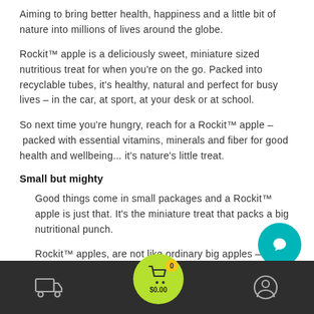Aiming to bring better health, happiness and a little bit of nature into millions of lives around the globe.
Rockit™ apple is a deliciously sweet, miniature sized nutritious treat for when you're on the go. Packed into recyclable tubes, it's healthy, natural and perfect for busy lives – in the car, at sport, at your desk or at school.
So next time you're hungry, reach for a Rockit™ apple – packed with essential vitamins, minerals and fiber for good health and wellbeing... it's nature's little treat.
Small but mighty
Good things come in small packages and a Rockit™ apple is just that. It's the miniature treat that packs a big nutritional punch.
Rockit™ apples, are not like ordinary big apples – they have 65% more potassium, 10% more energy and 10% more fiber than the ave... *
[Figure (screenshot): Bottom navigation bar with delivery truck icon, green cart circle with 0 badge and $0.00, and user profile icon. Teal chat bubble icon overlapping right side.]